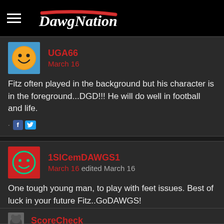DawgNation
UGA66
March 16
Fitz often played in the background but his character is in the foreground...DGD!!! He will do well in football and life.
1SICemDAWGS1
March 16 edited March 16
One tough young man, to play with feet issues. Best of luck in your future Fitz..GoDAWGS!
ScoreCheck